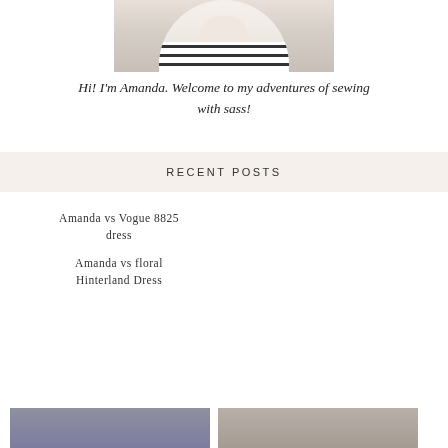[Figure (photo): Top portion of a person wearing a white and black striped top, cropped at the shoulders/neck area]
Hi! I'm Amanda. Welcome to my adventures of sewing with sass!
RECENT POSTS
[Figure (photo): Woman in a dark purple wrap dress with long sleeves, smiling, standing against a light background]
Amanda vs Vogue 8825 dress
[Figure (photo): Woman in a colorful floral romper/dress with short sleeves, standing in a room with a bookshelf]
Amanda vs floral Hinterland Dress
[Figure (photo): Partially visible photo of a woman, bottom of page]
[Figure (photo): Partially visible photo of a woman, bottom of page]